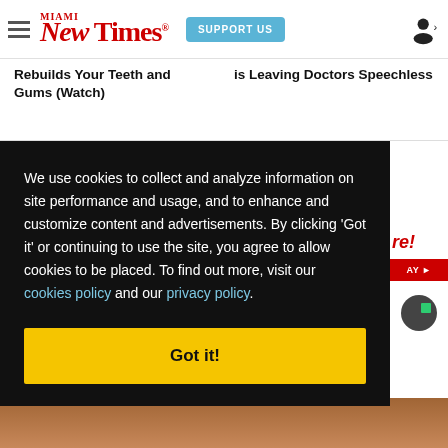MIAMI New Times — SUPPORT US
Rebuilds Your Teeth and Gums (Watch)
is Leaving Doctors Speechless
We use cookies to collect and analyze information on site performance and usage, and to enhance and customize content and advertisements. By clicking 'Got it' or continuing to use the site, you agree to allow cookies to be placed. To find out more, visit our cookies policy and our privacy policy.
Got it!